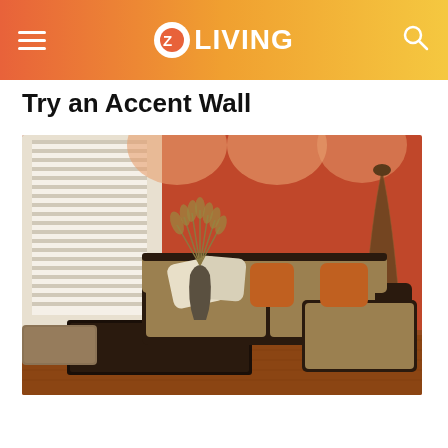Z LIVING
Try an Accent Wall
[Figure (photo): Living room interior with an orange/terracotta accent wall, a brown sectional sofa with orange and beige pillows, a dark wooden coffee table, a small ottoman, dried grass in a vase, a tall woven floor lamp, and hardwood floors.]